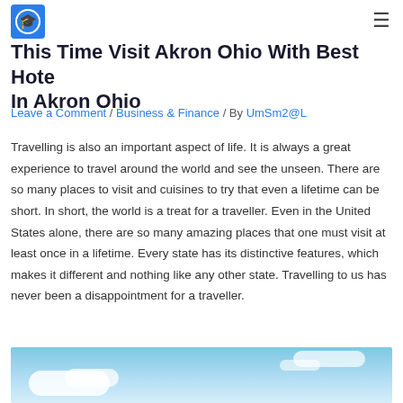[Figure (logo): Blue square logo with white graduation cap/shield icon]
This Time Visit Akron Ohio With Best Hotels In Akron Ohio
Leave a Comment / Business & Finance / By UmSm2@L
Travelling is also an important aspect of life. It is always a great experience to travel around the world and see the unseen. There are so many places to visit and cuisines to try that even a lifetime can be short. In short, the world is a treat for a traveller. Even in the United States alone, there are so many amazing places that one must visit at least once in a lifetime. Every state has its distinctive features, which makes it different and nothing like any other state. Travelling to us has never been a disappointment for a traveller.
[Figure (photo): Blue sky with white clouds, partial view at bottom of page]